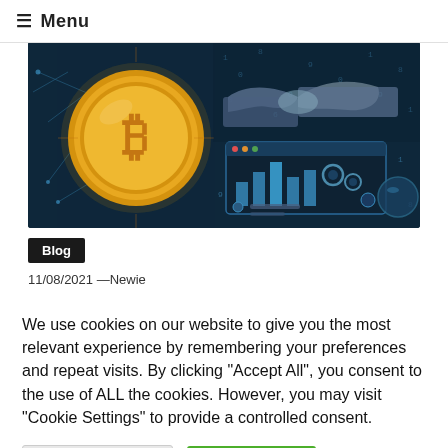≡ Menu
[Figure (illustration): A cryptocurrency and blockchain technology themed image featuring a large gold Bitcoin coin on the left with network nodes, and on the right side a handshake and a digital interface/chart display, all on a dark blue tech background with binary/number overlays]
Blog
11/08/2021 —Newie
We use cookies on our website to give you the most relevant experience by remembering your preferences and repeat visits. By clicking "Accept All", you consent to the use of ALL the cookies. However, you may visit "Cookie Settings" to provide a controlled consent.
Cookie Settings
Accept All